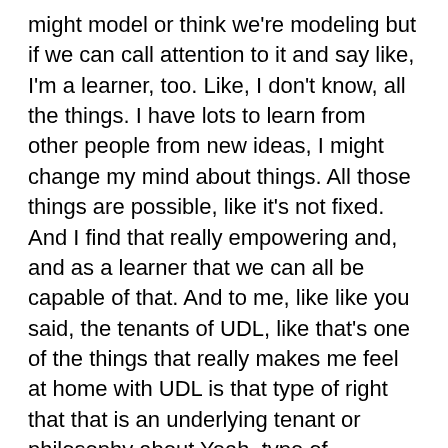might model or think we're modeling but if we can call attention to it and say like, I'm a learner, too. Like, I don't know, all the things. I have lots to learn from other people from new ideas, I might change my mind about things. All those things are possible, like it's not fixed. And I find that really empowering and, and as a learner that we can all be capable of that. And to me, like like you said, the tenants of UDL, like that's one of the things that really makes me feel at home with UDL is that type of right that that is an underlying tenant or philosophy about Yeah, type of framework.
Lillian Nave  14:57